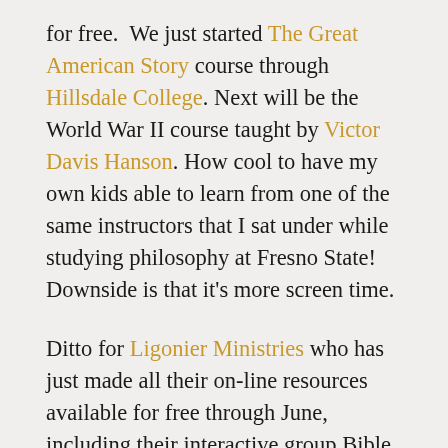for free. We just started The Great American Story course through Hillsdale College. Next will be the World War II course taught by Victor Davis Hanson. How cool to have my own kids able to learn from one of the same instructors that I sat under while studying philosophy at Fresno State! Downside is that it's more screen time.

Ditto for Ligonier Ministries who has just made all their on-line resources available for free through June, including their interactive group Bible studies! We're talking about a monumental amount of sound Biblical teaching now just a click away. For example, you can take Elisabeth